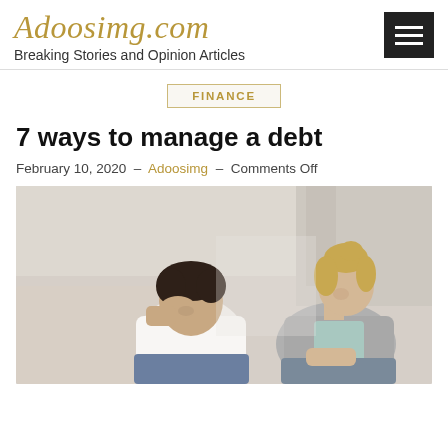Adoosimg.com — Breaking Stories and Opinion Articles
FINANCE
7 ways to manage a debt
February 10, 2020 - Adoosimg - Comments Off
[Figure (photo): A distressed couple sitting on a couch, man holding his head with his hand, woman leaning forward with head down, both appearing stressed about debt or financial issues]